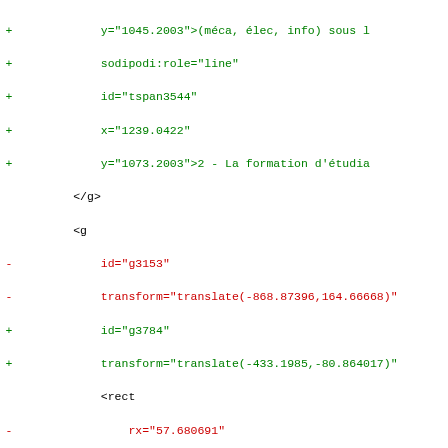Diff output showing SVG XML code changes with added (+) and removed (-) lines, including attribute modifications for id, transform, rect, and text elements.